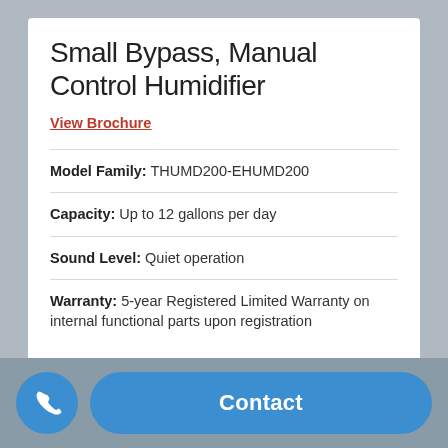Small Bypass, Manual Control Humidifier
View Brochure
| Model Family: | THUMD200-EHUMD200 |
| Capacity: | Up to 12 gallons per day |
| Sound Level: | Quiet operation |
| Warranty: | 5-year Registered Limited Warranty on internal functional parts upon registration |
View More
Contact